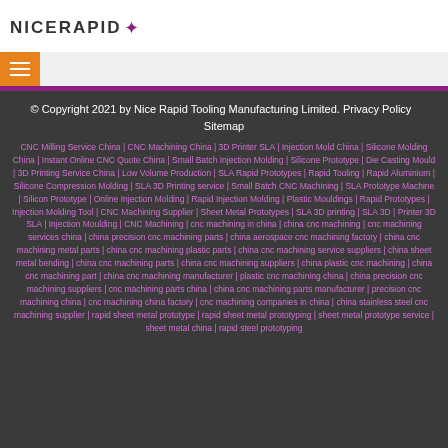NICERAPID
© Copyright 2021 by Nice Rapid Tooling Manufacturing Limited. Privacy Policy  Sitemap
CNC Milling Service China | CNC Machining China | 3D Printer SLA | Injection Mold China | Silicone Molding China | Instant Online CNC Quote China | Small Batch Injection Molding | Silicone Prototype | Die Casting Mould | 3D Printing Service China | Low Volume Production | SLA Rapid Prototypes | Rapid Tooling | Rapid Aluminium | Silicone Compression Molding | SLA 3D Printing service | Small Batch CNC Machining | SLA Prototype Machine | Silicon Prototype | Online Injection Molding | Rapid Injection Molding | Plastic Mouldings | Rapid Prototypes | Injection Molding Tool | CNC Machining Supplier | Sheet Metal Prototypes | SLA 3D printing | SLA 3D | Printer 3D SLA | Injection Moulding | CNC Machining | cnc machining in china | china cnc machining | cnc machining services china | china precision cnc machining parts | china aerospace cnc machining factory | china cnc machining metal parts | china cnc machining plastic parts | china cnc machining service suppliers | china sheet metal bending | china cnc machining parts | china cnc machining suppliers | china plastic cnc machining | china cnc machining part | china cnc machining manufacturer | plastic cnc machining china | china precision cnc machining suppliers | cnc machining parts china | china cnc machining parts manufacturer | precision cnc machining china | cnc machining china factory | cnc machining companies in china | china stainless steel cnc machining supplier | rapid sheet metal prototype | rapid sheet metal prototyping | sheet metal prototype service | sheet metal china | rapid steel prototyping